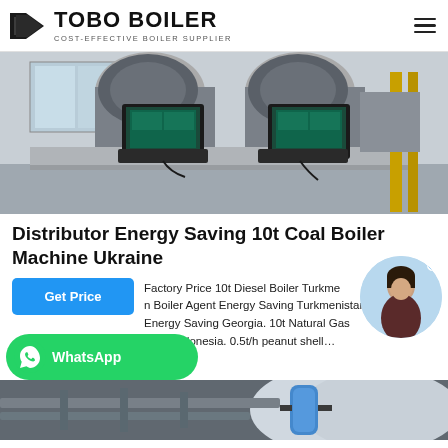TOBO BOILER — COST-EFFECTIVE BOILER SUPPLIER
[Figure (photo): Industrial boiler control room with two computer monitors on a workbench showing boiler system diagrams, with large industrial equipment and machinery visible in the background.]
Distributor Energy Saving 10t Coal Boiler Machine Ukraine
Factory Price 10t Diesel Boiler Turkmenistan Boiler Agent Energy Saving Turkmenistan Agent Energy Saving Georgia. 10t Natural Gas Distributor Indonesia. 0.5t/h peanut shell…
[Figure (photo): Bottom portion of industrial boiler equipment with pipes and blue cylindrical vessel visible.]